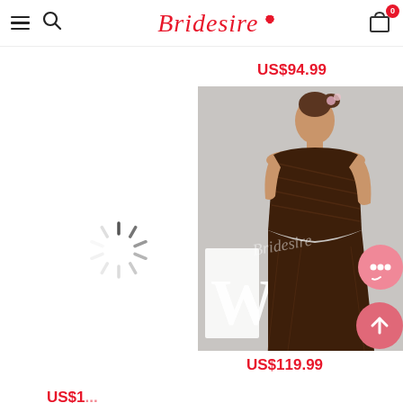Bridesire — navigation header with hamburger menu, search icon, logo, and cart (0 items)
US$94.99
[Figure (photo): Loading spinner (gray circular dashed loading indicator) on left side where a product image is loading]
[Figure (photo): Model wearing a brown strapless floor-length bridesmaid gown, standing in front of white decorative letters with Bridesire watermark]
US$119.99
US$1...